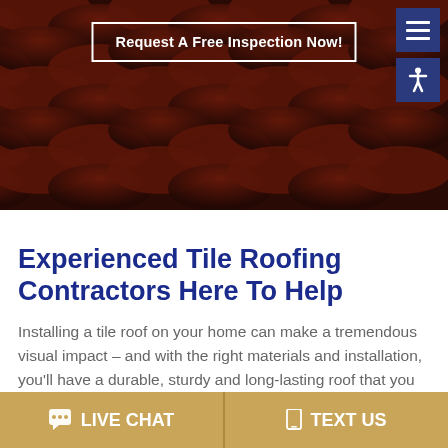[Figure (photo): Dark reddish-brown curved clay roof tiles photographed from above at an angle, filling the entire hero banner area]
Request A Free Inspection Now!
Experienced Tile Roofing Contractors Here To Help
Installing a tile roof on your home can make a tremendous visual impact – and with the right materials and installation, you'll have a durable, sturdy and long-lasting roof that you may never need to replace.
The Complete Guide to Tile
LIVE CHAT   TEXT US